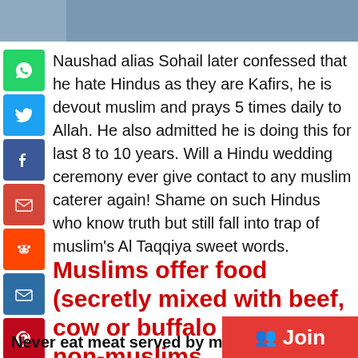[Figure (photo): Partial image of people at top of page]
Naushad alias Sohail later confessed that he hate Hindus as they are Kafirs, he is devout muslim and prays 5 times daily to Allah. He also admitted he is doing this for last 8 to 10 years. Will a Hindu wedding ceremony ever give contact to any muslim caterer again! Shame on such Hindus who know truth but still fall into trap of muslim's Al Taqqiya sweet words.
Muslims offer food (secretly mixed with beef, cow or buffalo flesh) to non-muslims
Never eat meat served by muslims in...